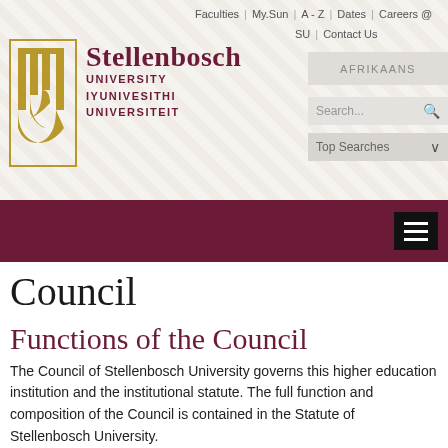Faculties | My.Sun | A - Z | Dates | Careers @ SU | Contact Us
[Figure (logo): Stellenbosch University logo — stylized golden SU monogram with text: Stellenbosch UNIVERSITY IYUNIVESITHI UNIVERSITEIT]
Council
Functions of the Council
The Council of Stellenbosch University governs this higher education institution and the institutional statute. The full function and composition of the Council is contained in the Statute of Stellenbosch University.
SU COUNCIL : COMPOSITION